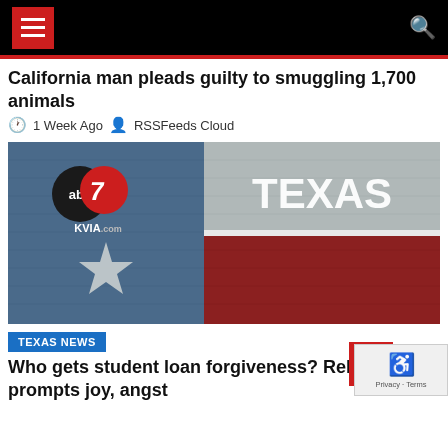Navigation header with menu and search
California man pleads guilty to smuggling 1,700 animals
1 Week Ago  RSSFeeds Cloud
[Figure (photo): ABC7 KVIA.com logo overlaid on a Texas flag mural painted on brick wall, with blue stripe on left featuring a white star and red/white stripes on right with TEXAS text]
TEXAS NEWS
Who gets student loan forgiveness? Relief prompts joy, angst